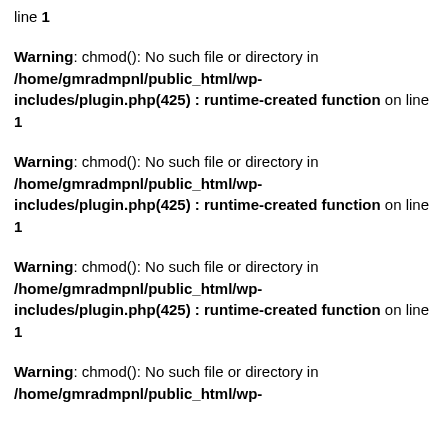line 1
Warning: chmod(): No such file or directory in /home/gmradmpnl/public_html/wp-includes/plugin.php(425) : runtime-created function on line 1
Warning: chmod(): No such file or directory in /home/gmradmpnl/public_html/wp-includes/plugin.php(425) : runtime-created function on line 1
Warning: chmod(): No such file or directory in /home/gmradmpnl/public_html/wp-includes/plugin.php(425) : runtime-created function on line 1
Warning: chmod(): No such file or directory in /home/gmradmpnl/public_html/wp-includes/plugin.php(425) : runtime-created function on line 1